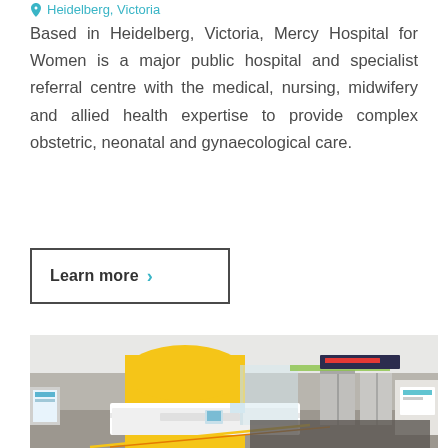Heidelberg, Victoria
Based in Heidelberg, Victoria, Mercy Hospital for Women is a major public hospital and specialist referral centre with the medical, nursing, midwifery and allied health expertise to provide complex obstetric, neonatal and gynaecological care.
Learn more >
[Figure (photo): Interior photo of Mercy Hospital for Women main reception area, showing a white reception desk with 'Main Reception' signage, yellow accent wall with an archway, glass partition, hospital corridor with elevators, green ceiling lighting, and navigation signage on the right side.]